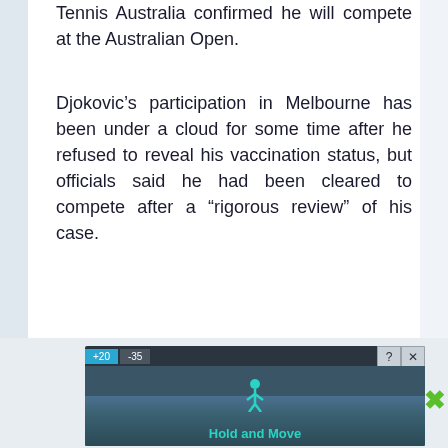Tennis Australia confirmed he will compete at the Australian Open.
Djokovic's participation in Melbourne has been under a cloud for some time after he refused to reveal his vaccination status, but officials said he had been cleared to compete after a “rigorous review” of his case.
Djokovic is equal on 20 grand slam titles with Roger Federer and Rafael Nadal.
[Figure (screenshot): Advertisement banner showing 'Hold and Move' app/game with a dark outdoor winter scene, trees, and person icon. Blue and dark tabs at top with close controls.]